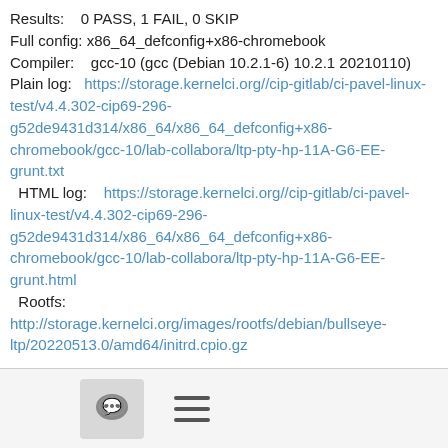Results:    0 PASS, 1 FAIL, 0 SKIP
Full config: x86_64_defconfig+x86-chromebook
Compiler:    gcc-10 (gcc (Debian 10.2.1-6) 10.2.1 20210110)
Plain log:   https://storage.kernelci.org//cip-gitlab/ci-pavel-linux-test/v4.4.302-cip69-296-g52de9431d314/x86_64/x86_64_defconfig+x86-chromebook/gcc-10/lab-collabora/ltp-pty-hp-11A-G6-EE-grunt.txt
HTML log:    https://storage.kernelci.org//cip-gitlab/ci-pavel-linux-test/v4.4.302-cip69-296-g52de9431d314/x86_64/x86_64_defconfig+x86-chromebook/gcc-10/lab-collabora/ltp-pty-hp-11A-G6-EE-grunt.html
Rootfs:
http://storage.kernelci.org/images/rootfs/debian/bullseye-ltp/20220513.0/amd64/initrd.cpio.gz
* ltp-pty.login:
https://kernelci.org/test/case/id/62841db90582765107a39bd6
[Figure (other): Footer bar with chat bubble icon button and hamburger menu icon]